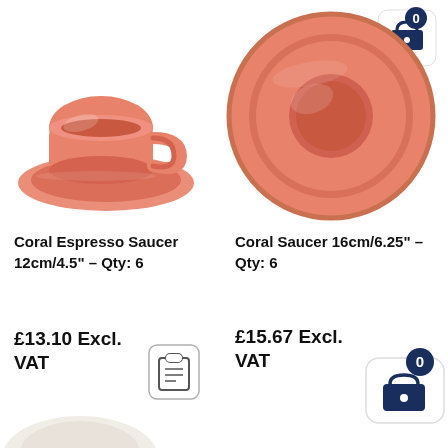[Figure (photo): Coral-colored espresso cup and saucer set, ceramic, viewed from slight angle]
[Figure (photo): Coral-colored ceramic saucer 16cm, viewed from above]
Coral Espresso Saucer 12cm/4.5" – Qty: 6
£13.10 Excl. VAT
Coral Saucer 16cm/6.25" – Qty: 6
£15.67 Excl. VAT
[Figure (illustration): Add to basket / clipboard icon button (grey outline)]
[Figure (illustration): Shopping basket icon with badge showing 0, dark navy blue]
[Figure (photo): Partial product image at bottom of page (cream/beige ceramic item)]